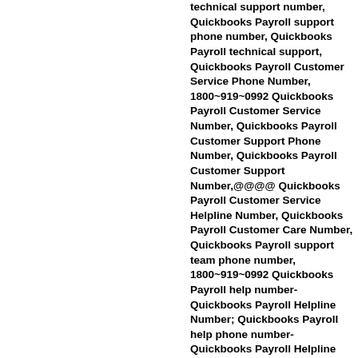technical support number, Quickbooks Payroll support phone number, Quickbooks Payroll technical support, Quickbooks Payroll Customer Service Phone Number, 1800~919~0992 Quickbooks Payroll Customer Service Number, Quickbooks Payroll Customer Support Phone Number, Quickbooks Payroll Customer Support Number,@@@@ Quickbooks Payroll Customer Service Helpline Number, Quickbooks Payroll Customer Care Number, Quickbooks Payroll support team phone number, 1800~919~0992 Quickbooks Payroll help number- Quickbooks Payroll Helpline Number; Quickbooks Payroll help phone number- Quickbooks Payroll Helpline Number USA/CANADA. Call @ 1800*919*0992 Quickbooks Payroll Customer Care Help Number USA/CANADA Call @ 1800*919*0992 Quickbooks Payroll Customer Care Help Number USA/CANADA Call @ 1800*919*0992 Quickbooks Payroll Customer Care Help Number USA/CANADA Call @ 1800*919*0992 Quickbooks Payroll Customer Care Help Number USA/CANADA Call @ 1800*919*0992 Quickbooks Payroll Customer Care Help